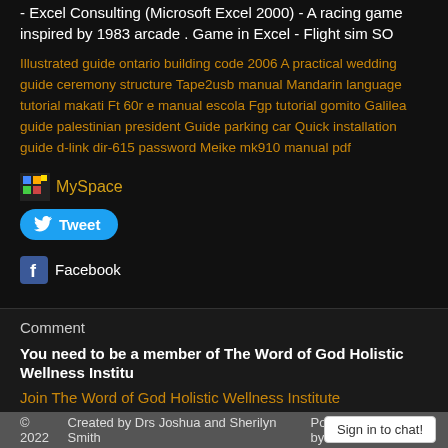- Excel Consulting (Microsoft Excel 2000) - A racing game inspired by 1983 arcade . Game in Excel - Flight sim SO
Illustrated guide ontario building code 2006 A practical wedding guide ceremony structure Tape2usb manual Mandarin language tutorial makati Ft 60r e manual escola Fgp tutorial gomito Galilea guide palestinian president Guide parking car Quick installation guide d-link dir-615 password Meike mk910 manual pdf
[Figure (other): MySpace social share link with pixel icon]
[Figure (other): Tweet button with Twitter bird icon]
[Figure (other): Facebook share link with Facebook icon]
Comment
You need to be a member of The Word of God Holistic Wellness Institu...
Join The Word of God Holistic Wellness Institute
© 2022   Created by Drs Joshua and Sherilyn Smith   Powered by: NING
Sign in to chat!